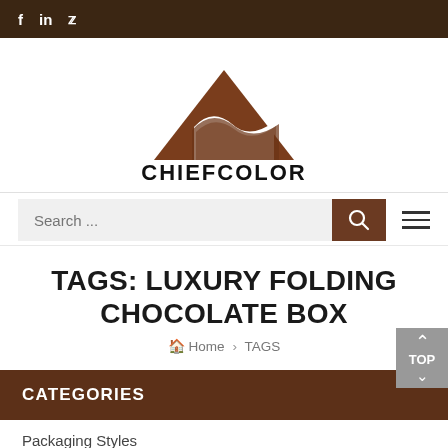f  in  🐦
[Figure (logo): ChiefColor logo: brown mountain/wave triangle shape above text CHIEFCOLOR in black bold letters]
Search ...
TAGS: LUXURY FOLDING CHOCOLATE BOX
🏠 Home › TAGS
CATEGORIES
Packaging Styles